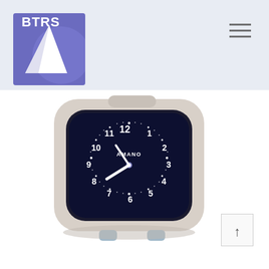[Figure (logo): BTRS logo — purple/blue square with white triangle sail and text 'BTRS']
[Figure (other): Hamburger menu icon — three horizontal lines]
[Figure (photo): Amano brand analog clock/time recorder with dark navy face showing numbers 1-12, white clock hands pointing approximately to 8:40, beige/white plastic casing, small feet at bottom]
[Figure (other): Back-to-top button — square with upward arrow]